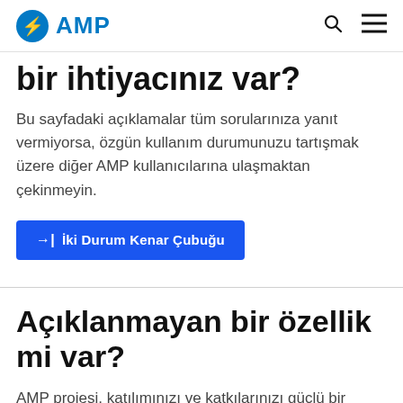AMP
bir ihtiyacınız var?
Bu sayfadaki açıklamalar tüm sorularınıza yanıt vermiyorsa, özgün kullanım durumunuzu tartışmak üzere diğer AMP kullanıcılarına ulaşmaktan çekinmeyin.
→| İki Durum Kenar Çubuğu
Açıklanmayan bir özellik mi var?
AMP projesi, katılımınızı ve katkılarınızı güçlü bir şekilde teşvik ediyor! Açık kaynak topluluğumuzun